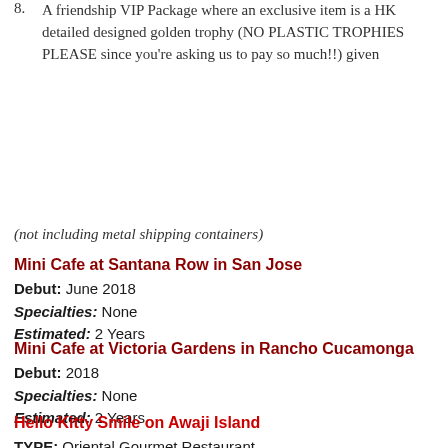8. A friendship VIP Package where an exclusive item is a HK detailed designed golden trophy (NO PLASTIC TROPHIES PLEASE since you're asking us to pay so much!!) given
(not including metal shipping containers)
Mini Cafe at Santana Row in San Jose
Debut: June 2018
Specialties: None
Estimated: 2 Years
Mini Cafe at Victoria Gardens in Rancho Cucamonga
Debut: 2018
Specialties: None
Estimated: 2 Years
Hello Kitty Smile on Awaji Island
TYPE: Oriental Gourmet Restaurant